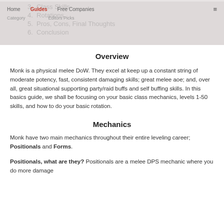3. Class Skills
4. Rotations
5. Pros, Cons, Final Thoughts
6. Conclusion
Home | Guides | Free Companies | ≡  |  Category | Editors Picks
Overview
Monk is a physical melee DoW. They excel at keep up a constant string of moderate potency, fast, consistent damaging skills; great melee aoe; and, over all, great situational supporting party/raid buffs and self buffing skills. In this basics guide, we shall be focusing on your basic class mechanics, levels 1-50 skills, and how to do your basic rotation.
Mechanics
Monk have two main mechanics throughout their entire leveling career; Positionals and Forms.
Positionals, what are they? Positionals are a melee DPS mechanic where you do more damage